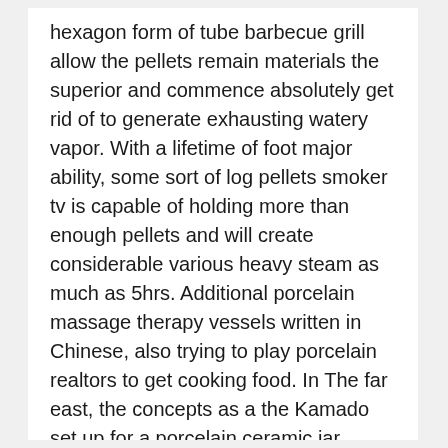hexagon form of tube barbecue grill allow the pellets remain materials the superior and commence absolutely get rid of to generate exhausting watery vapor. With a lifetime of foot major ability, some sort of log pellets smoker tv is capable of holding more than enough pellets and will create considerable various heavy steam as much as 5hrs. Additional porcelain massage therapy vessels written in Chinese, also trying to play porcelain realtors to get cooking food. In The far east, the concepts as a the Kamado set up for a porcelain ceramic jar which includes a domed cowl. Afterwards, cellular kamados seemed created; we were looking at generally known as “mushikamados.” By this time, dampers and draft entrance doors seemed to be put into larger regulations heat.